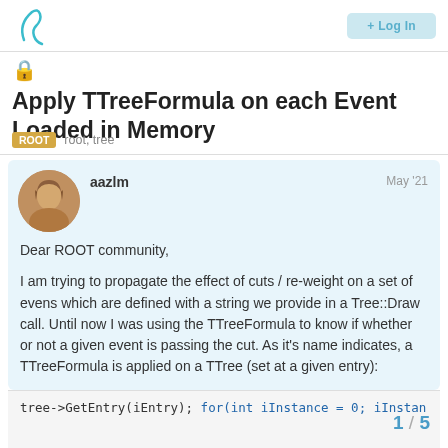ROOT Forum — Login button
🔒 Apply TTreeFormula on each Event Loaded in Memory
ROOT   root, tree
aazlm   May '21
Dear ROOT community,

I am trying to propagate the effect of cuts / re-weight on a set of evens which are defined with a string we provide in a Tree::Draw call. Until now I was using the TTreeFormula to know if whether or not a given event is passing the cut. As it's name indicates, a TTreeFormula is applied on a TTree (set at a given entry):
1 / 5
tree->GetEntry(iEntry);
for(int iInstance = 0; iInstan